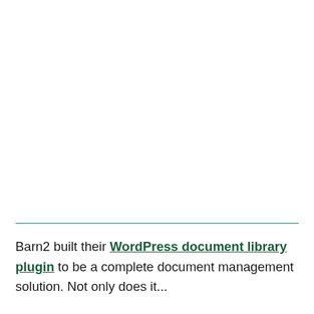Barn2 built their WordPress document library plugin to be a complete document management solution. Not only does it...